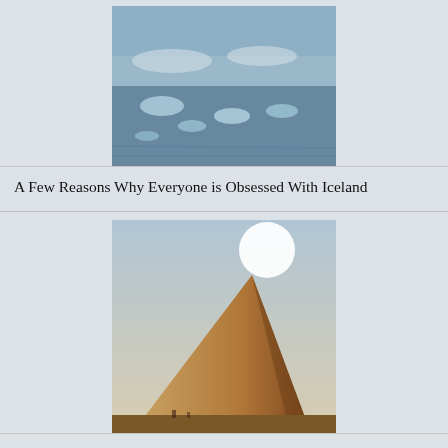[Figure (photo): Icy glacial lagoon scene from Iceland with blue-toned icebergs and water]
A Few Reasons Why Everyone is Obsessed With Iceland
[Figure (photo): Great Pyramid of Giza with bright sun in a hazy sky]
20 Things Every Smart Traveler Should Know
[Figure (photo): Luxury safari lodge outdoor terrace with trees and scenic view]
Honest Luxury Travel: What It Is And Why It's Important